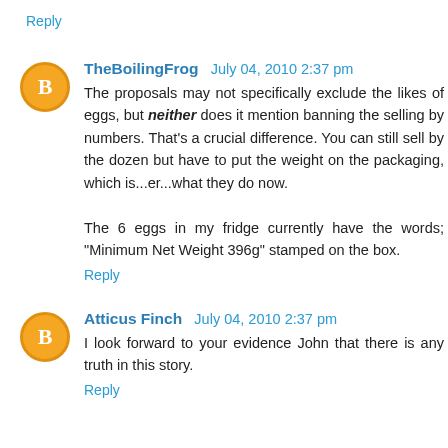Reply
TheBoilingFrog  July 04, 2010 2:37 pm
The proposals may not specifically exclude the likes of eggs, but neither does it mention banning the selling by numbers. That's a crucial difference. You can still sell by the dozen but have to put the weight on the packaging, which is...er...what they do now.

The 6 eggs in my fridge currently have the words; "Minimum Net Weight 396g" stamped on the box.
Reply
Atticus Finch  July 04, 2010 2:37 pm
I look forward to your evidence John that there is any truth in this story.
Reply